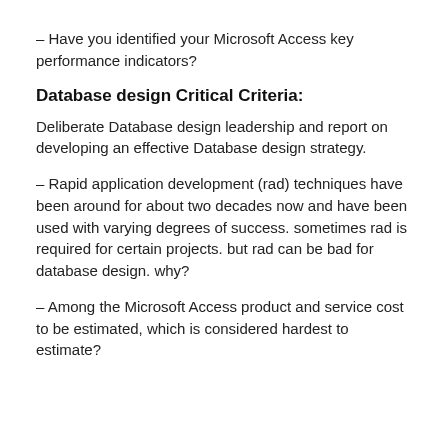– Have you identified your Microsoft Access key performance indicators?
Database design Critical Criteria:
Deliberate Database design leadership and report on developing an effective Database design strategy.
– Rapid application development (rad) techniques have been around for about two decades now and have been used with varying degrees of success. sometimes rad is required for certain projects. but rad can be bad for database design. why?
– Among the Microsoft Access product and service cost to be estimated, which is considered hardest to estimate?